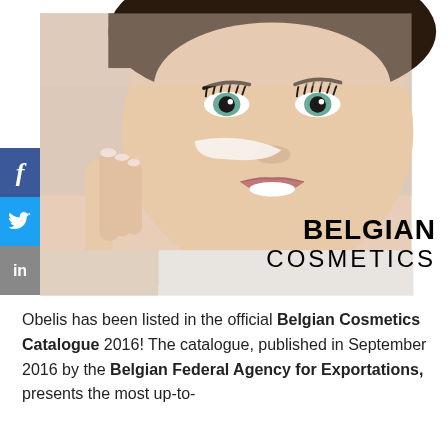[Figure (photo): Close-up photo of a woman applying white cream to her cheek, with social media sidebar icons (Facebook, Twitter, LinkedIn) on the left, and 'BELGIAN COSMETICS' text overlay in the lower right corner of the image.]
Obelis has been listed in the official Belgian Cosmetics Catalogue 2016! The catalogue, published in September 2016 by the Belgian Federal Agency for Exportations, presents the most up-to-